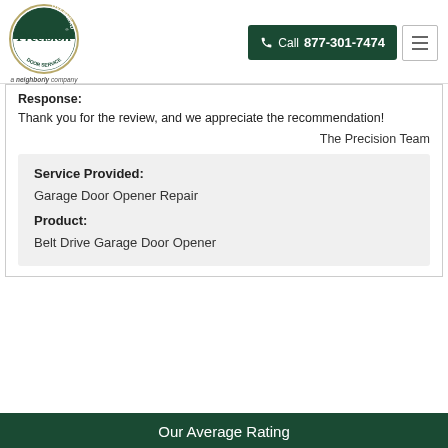[Figure (logo): Precision Overhead Garage Door Service logo - circular badge with company name and 'a Neighborly company' text below]
Response: Thank you for the review, and we appreciate the recommendation!
The Precision Team
Service Provided: Garage Door Opener Repair
Product: Belt Drive Garage Door Opener
Our Average Rating